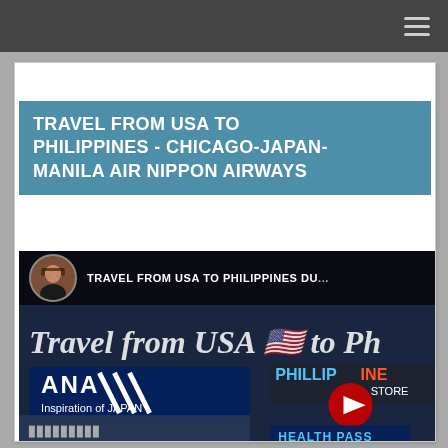Navigation bar with hamburger menu
TRAVEL FROM USA TO PHILIPPINES - CHICAGO-JAPAN-MANILA AIR NIPPON AIRWAYS
[Figure (screenshot): YouTube video thumbnail showing 'TRAVEL FROM USA TO PHILIPPINES DUR...' with ANA (All Nippon Airways) branding, 'Inspiration of JAPAN' text, Philippine store in background, YouTube play button, and 'HEALTH PASS' text. Channel avatar shows a woman with sunglasses.]